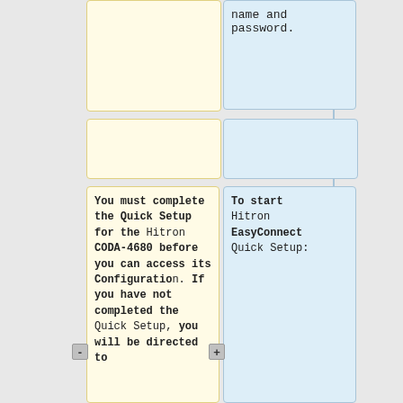name and password.
You must complete the Quick Setup for the Hitron CODA-4680 before you can access its Configuration. If you have not completed the Quick Setup, you will be directed to
To start Hitron EasyConnect Quick Setup: